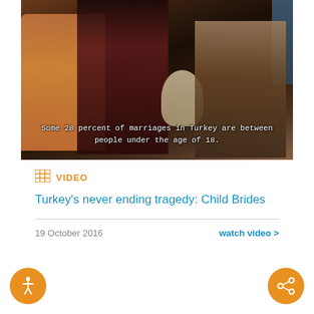[Figure (photo): A woman in black hijab with several children including an infant and a young boy. A subtitle overlay reads: 'Some 28 percent of marriages in Turkey are between people under the age of 18.']
Some 28 percent of marriages in Turkey are between people under the age of 18.
VIDEO
Turkey's never ending tragedy: Child Brides
19 October 2016
watch video >